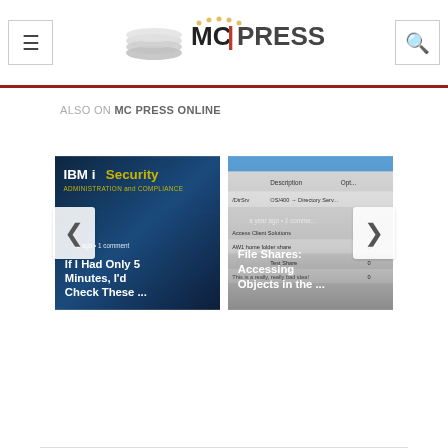MC PRESS
ALSO ON MC PRESS ONLINE
[Figure (screenshot): Article card for 'If I Had Only 5 Minutes, I'd Check These ...' with IBM i Security Administration and Compliance background image. Shows 'hrs ago • 1 comment' metadata.]
[Figure (screenshot): Article card for 'File Shares: Accessing Objects in the ...' with a screenshot of a file shares table. Shows 'a year ago • 2 comments' metadata.]